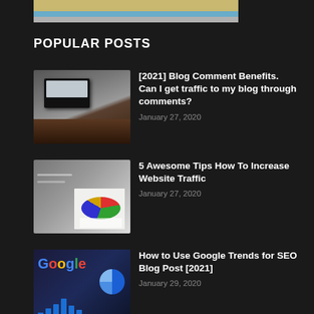[Figure (illustration): Partial top image strip showing a scene with sandy/water landscape]
POPULAR POSTS
[Figure (photo): Person typing on laptop with phone on desk]
[2021] Blog Comment Benefits. Can I get traffic to my blog through comments?
January 27, 2020
[Figure (photo): Hand holding tablet showing charts and graphs]
5 Awesome Tips How To Increase Website Traffic
January 27, 2020
[Figure (photo): Google logo with charts and pie chart graphic]
How to Use Google Trends for SEO Blog Post [2021]
January 29, 2020